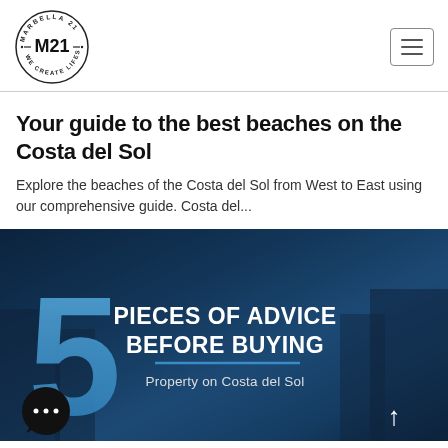Marbella 21 - M21 - We Create Lifestyle
Your guide to the best beaches on the Costa del Sol
Explore the beaches of the Costa del Sol from West to East using our comprehensive guide. Costa del...
[Figure (infographic): Banner image with dark blue overlay showing a large blue '5', bold white text reading '5 PIECES OF ADVICE BEFORE BUYING', and subtitle 'Property on Costa del Sol'. A chat bubble icon appears bottom-left and an up arrow bottom-right.]